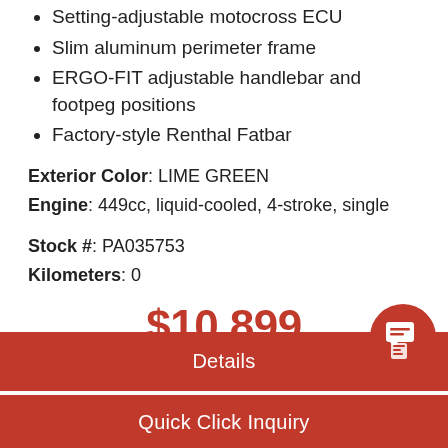Setting-adjustable motocross ECU
Slim aluminum perimeter frame
ERGO-FIT adjustable handlebar and footpeg positions
Factory-style Renthal Fatbar
Exterior Color: LIME GREEN
Engine: 449cc, liquid-cooled, 4-stroke, single
Stock #: PA035753
Kilometers: 0
$10,899
Details
Quick Click Inquiry